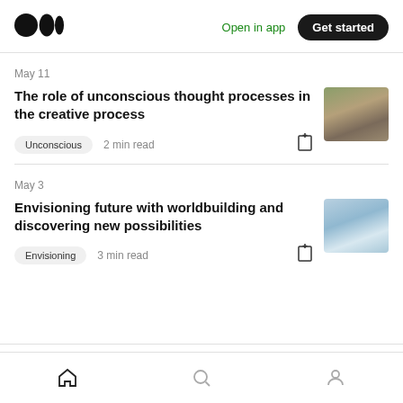Medium logo | Open in app | Get started
May 11
The role of unconscious thought processes in the creative process
Unconscious  2 min read
May 3
Envisioning future with worldbuilding and discovering new possibilities
Envisioning  3 min read
Home | Search | Profile